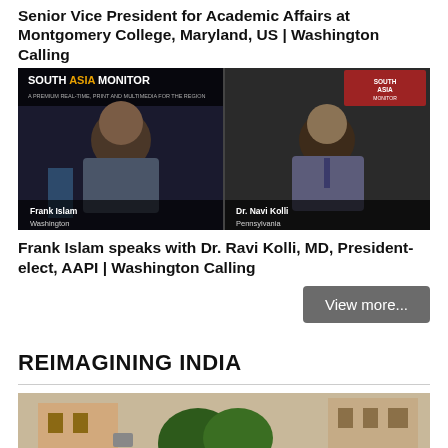Senior Vice President for Academic Affairs at Montgomery College, Maryland, US | Washington Calling
[Figure (screenshot): South Asia Monitor video screenshot showing Frank Islam and Dr. Navi Kolli in a split-screen video call]
Frank Islam speaks with Dr. Ravi Kolli, MD, President-elect, AAPI | Washington Calling
View more...
REIMAGINING INDIA
[Figure (screenshot): Video thumbnail showing a street scene with text overlay: Medicine Messiah for the Poor | Reimagining India]